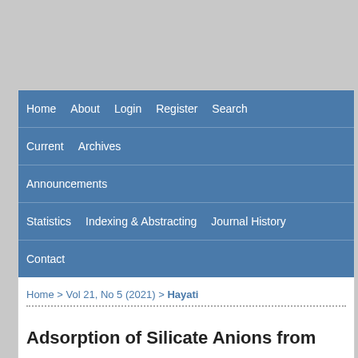Home  About  Login  Register  Search
Current  Archives
Announcements
Statistics  Indexing & Abstracting  Journal History
Contact
Home > Vol 21, No 5 (2021) > Hayati
Adsorption of Silicate Anions from